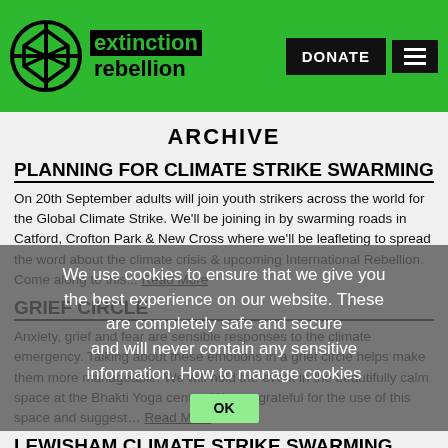extinction rebellion | DONATE | menu
ARCHIVE
PLANNING FOR CLIMATE STRIKE SWARMING
On 20th September adults will join youth strikers across the world for the Global Climate Strike. We'll be joining in by swarming roads in Catford, Crofton Park & New Cross where we'll be leafleting to spread the word about the climate crisis & upcoming International Rebellion. Come along to this... Read More
GRIEF CIRCLE
Anxiety, grief and fear are sensible responses to the climate emergency. Talking about these emotions in a grief circle helps make them more manageable. We will hold the event in the beautifully calm space at the Bhakti Yoga centre. We are grateful for the use of this space and suggest… Read More
LEWISHAM CLIMATE STRIKE SWARMING
We use cookies to ensure that we give you the best experience on our website. These are completely safe and secure and will never contain any sensitive information. How to manage cookies
OK